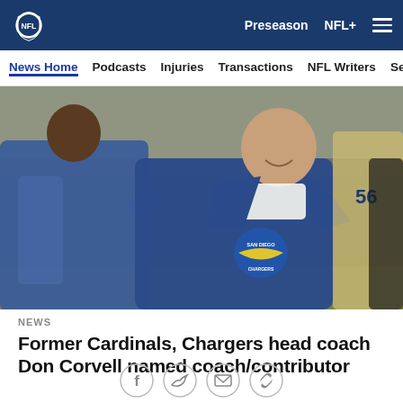NFL — Preseason | NFL+
News Home | Podcasts | Injuries | Transactions | NFL Writers | Se…
[Figure (photo): Former San Diego Chargers head coach Don Coryell walking on the sideline in a blue Chargers jacket, with players and staff around him in a packed stadium.]
NEWS
Former Cardinals, Chargers head coach Don Corvell named coach/contributor